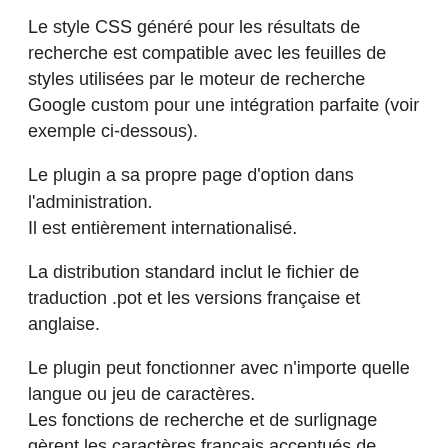Le style CSS généré pour les résultats de recherche est compatible avec les feuilles de styles utilisées par le moteur de recherche Google custom pour une intégration parfaite (voir exemple ci-dessous).
Le plugin a sa propre page d'option dans l'administration.
Il est entièrement internationalisé.
La distribution standard inclut le fichier de traduction .pot et les versions française et anglaise.
Le plugin peut fonctionner avec n'importe quelle langue ou jeu de caractères.
Les fonctions de recherche et de surlignage gèrent les caractères français accentués de façon intelligente.
Elles sont compatibles utf-8 multibyte.